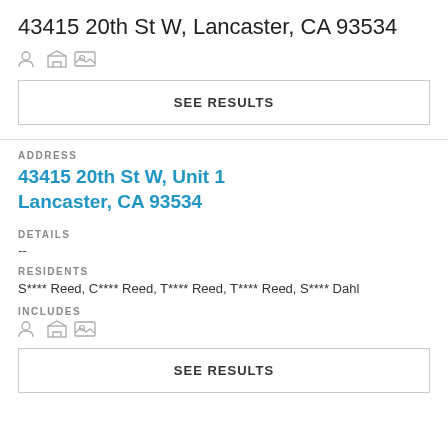43415 20th St W, Lancaster, CA 93534
[Figure (other): Row of three small icons (person, building, image)]
SEE RESULTS
ADDRESS
43415 20th St W, Unit 1 Lancaster, CA 93534
DETAILS
--
RESIDENTS
S**** Reed, C**** Reed, T**** Reed, T**** Reed, S**** Dahl
INCLUDES
[Figure (other): Row of three small icons (person, building, image)]
SEE RESULTS